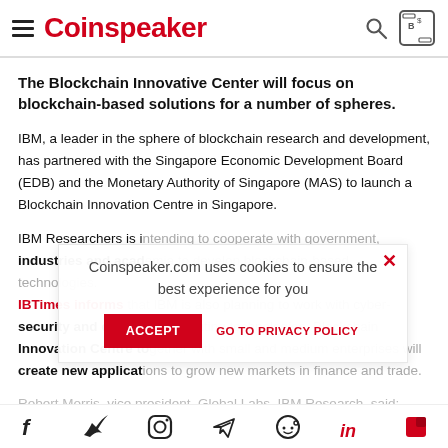Coinspeaker
The Blockchain Innovative Center will focus on blockchain-based solutions for a number of spheres.
IBM, a leader in the sphere of blockchain research and development, has partnered with the Singapore Economic Development Board (EDB) and the Monetary Authority of Singapore (MAS) to launch a Blockchain Innovation Centre in Singapore.
IBM Researchers is intending to cooperate with government, industries and academia to develop blockchain-based technologies. IBTimes informs that IBM is also planning to work with cyber-security and cognitive computing technologies. Blockchain Innovation Centre together with small and medium enterprises will create new applications to grow new markets in finance and trade.
Robert Morris, vice president, Global Labs, IBM Research, said: "This is IBM's first collaboration with the private sector and multiple government agencies within the same country to explore